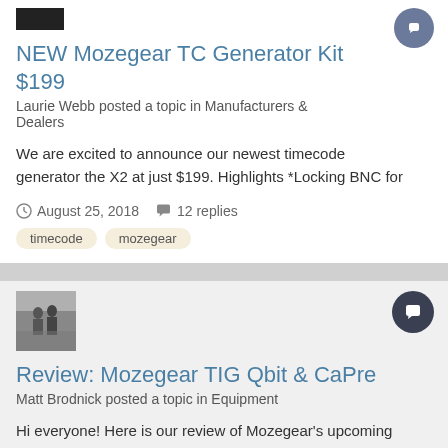[Figure (photo): Small black avatar/profile image in top-left]
NEW Mozegear TC Generator Kit $199
Laurie Webb posted a topic in Manufacturers & Dealers
We are excited to announce our newest timecode generator the X2 at just $199. Highlights *Locking BNC for
August 25, 2018   12 replies
timecode   mozegear
[Figure (photo): Small grayscale photo of people outdoors, used as avatar]
Review: Mozegear TIG Qbit & CaPre
Matt Brodnick posted a topic in Equipment
Hi everyone! Here is our review of Mozegear's upcoming camera-centric products, the TIG Qbit teeny timecode